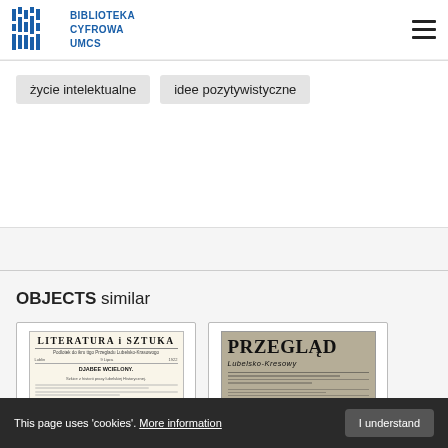[Figure (logo): Biblioteka Cyfrowa UMCS logo with vertical bar pattern and blue text]
życie intelektualne
idee pozytywistyczne
OBJECTS similar
[Figure (photo): Cover of Literatura i Sztuka - supplement to Przegląd Lubelsko-Kresowy, showing article Djabel Wcielony]
[Figure (photo): Cover of Przegląd Lubelsko-Kresowy journal with large bold title text on grey/brown background]
This page uses 'cookies'. More information